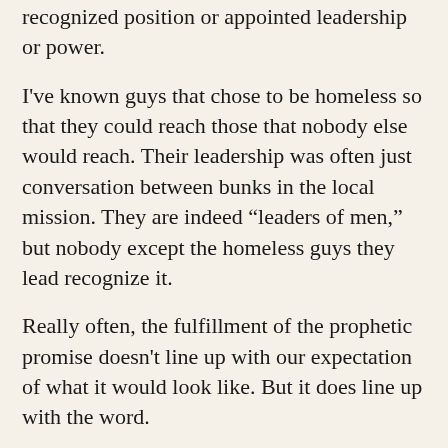recognized position or appointed leadership or power.
I've known guys that chose to be homeless so that they could reach those that nobody else would reach. Their leadership was often just conversation between bunks in the local mission. They are indeed “leaders of men,” but nobody except the homeless guys they lead recognize it.
Really often, the fulfillment of the prophetic promise doesn't line up with our expectation of what it would look like. But it does line up with the word.
Second, the prophetic declaration releases God's resources to bring about that which they declare.
When God speaks to the destitute homeless guy about wealth, that declaration, when activated by faith, is releasing the grace of God, the power of God, to gather wealth to the guy. Power to accomplish the word is carried by the word.
That doesn’t necessarily mean people will hand him cash money, though I’ve seen that happen. It may mean that God